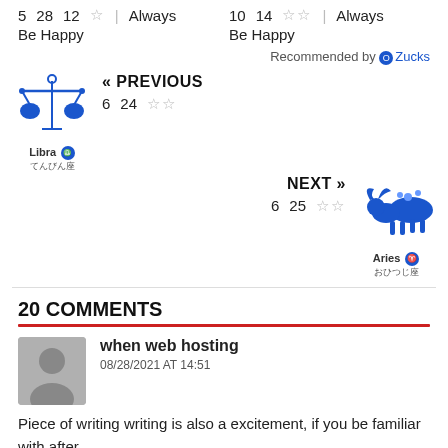5 28 12 ☆ | Always Be Happy   10 14 ☆☆ | Always Be Happy
Recommended by Zucks
« PREVIOUS
6 24 ☆☆
[Figure (illustration): Libra zodiac symbol — blue scales icon with Japanese text label]
NEXT »
6 25 ☆☆
[Figure (illustration): Aries zodiac symbol — blue ram icon with Japanese text label おひつじ座]
20 COMMENTS
[Figure (illustration): Grey avatar silhouette placeholder]
when web hosting
08/28/2021 AT 14:51
Piece of writing writing is also a excitement, if you be familiar with after